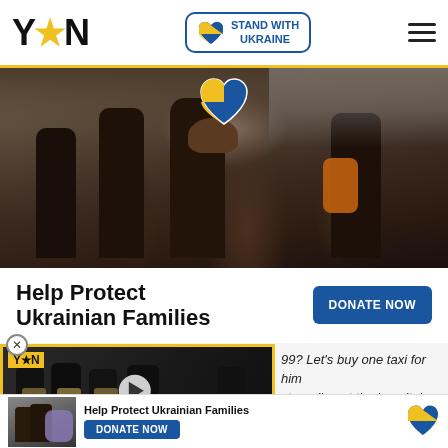YEN | STAND WITH UKRAINE
[Figure (photo): Evacuees being carried through rubble, Ukraine war scene. Ukrainian flag shield overlay in top center.]
Help Protect Ukrainian Families
DONATE NOW
[Figure (screenshot): YEN video popup showing armed soldiers in tactical gear. Caption reads 'GHANA NTI: BRING BACK OUR TADI GIRLS'. Play button in center.]
99? Let's buy one taxi for him struggling at the hospitals. conditions and can't foot their
[Figure (photo): Small thumbnail of Ukrainian evacuee scene at bottom ad bar.]
Help Protect Ukrainian Families DONATE NOW